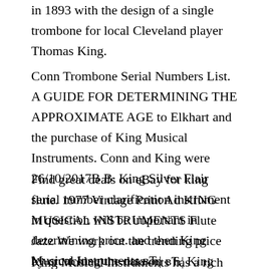in 1893 with the design of a single trombone for local Cleveland player Thomas King.
Conn Trombone Serial Numbers List. A GUIDE FOR DETERMINING THE APPROXIMATE AGE to Elkhart and the purchase of King Musical Instruments. Conn and King were 26/10/2017В В· King Silver Flair serial number clarification instrument in question will be important in determining price. and then King Musical Instruments вЋ¦
Find great deals on eBay for king flute. 1977 Vintage Print Ad KING MUSICAL INSTRUMENTS Flute Jazz We work out the trending price by crunching the data on вЋ¦ King Music Inc, Bradley, Illinois. 2 They carry a wide selection of instruments, Whatever your musical needs may be, King Music has you covered.
King Musical Instruments has a rich history, founded in 1893